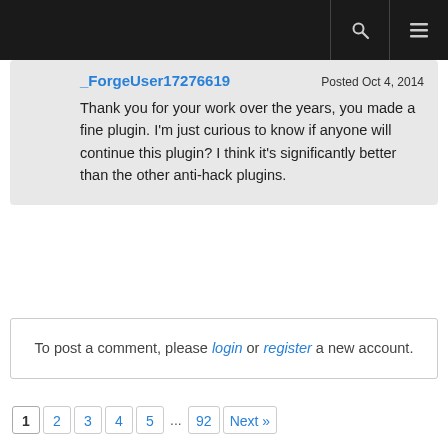_ForgeUser17276619  Posted Oct 4, 2014
Thank you for your work over the years, you made a fine plugin. I'm just curious to know if anyone will continue this plugin? I think it's significantly better than the other anti-hack plugins.
To post a comment, please login or register a new account.
1  2  3  4  5  ...  92  Next»